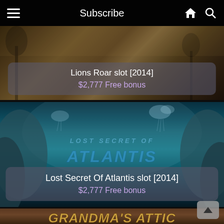Subscribe
[Figure (screenshot): Lions Roar slot game banner with savanna background]
Lions Roar slot [2014]
$2,777 Free bonus
[Figure (screenshot): Lost Secret Of Atlantis slot game banner with underwater teal background and the game logo text]
Lost Secret Of Atlantis slot [2014]
$2,777 Free bonus
[Figure (screenshot): Grandma's Attic slot game banner showing partial title text in gold letters on red/brown background]